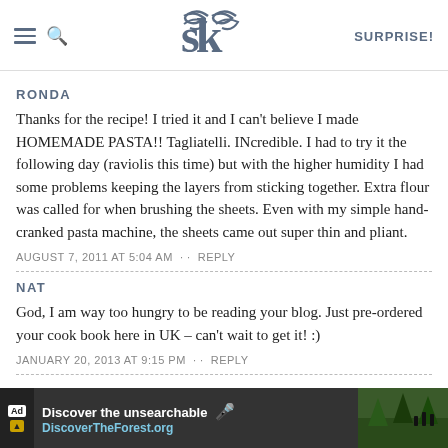SK | SURPRISE!
RONDA
Thanks for the recipe! I tried it and I can't believe I made HOMEMADE PASTA!! Tagliatelli. INcredible. I had to try it the following day (raviolis this time) but with the higher humidity I had some problems keeping the layers from sticking together. Extra flour was called for when brushing the sheets. Even with my simple hand-cranked pasta machine, the sheets came out super thin and pliant.
AUGUST 7, 2011 AT 5:04 AM · · REPLY
NAT
God, I am way too hungry to be reading your blog. Just pre-ordered your cook book here in UK – can't wait to get it! :)
JANUARY 20, 2013 AT 9:15 PM · · REPLY
[Figure (screenshot): Advertisement banner for DiscoverTheForest.org: 'Discover the unsearchable' with forest background image and close button]